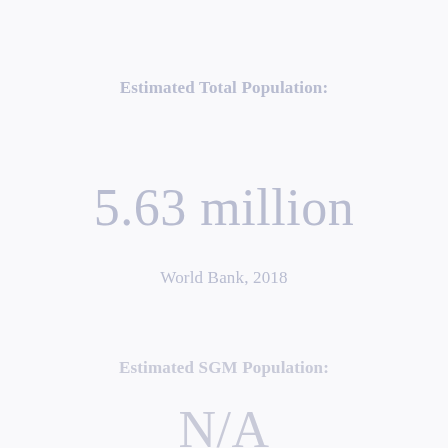Estimated Total Population:
5.63 million
World Bank, 2018
Estimated SGM Population:
N/A